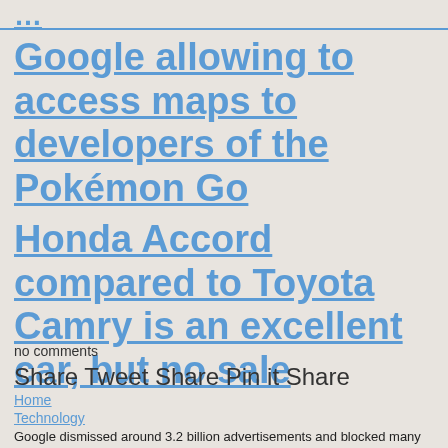…(partially cut off heading)…
Google allowing to access maps to developers of the Pokémon Go
Honda Accord compared to Toyota Camry is an excellent car, but no sale
no comments
Share Tweet Share Pin it Share
Home
Technology
Google dismissed around 3.2 billion advertisements and blocked many publishers, sites, and mobile apps